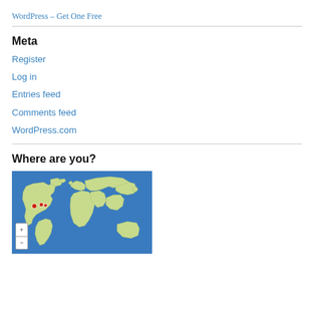WordPress – Get One Free
Meta
Register
Log in
Entries feed
Comments feed
WordPress.com
Where are you?
[Figure (map): World map showing 50 Pageviews from Jul 24th – Aug 24th, with red markers in North America. Includes zoom +/- controls.]